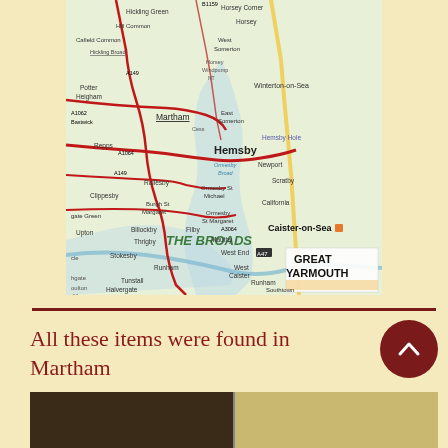[Figure (map): Road map showing Norfolk Broads area including Hemsby, Caister-on-Sea, Great Yarmouth, Martham, Ormesby, and surrounding villages with road numbers and waterways marked.]
All these items were found in Martham
[Figure (photo): Partial view of food/items photographs at the bottom of the page, cropped]